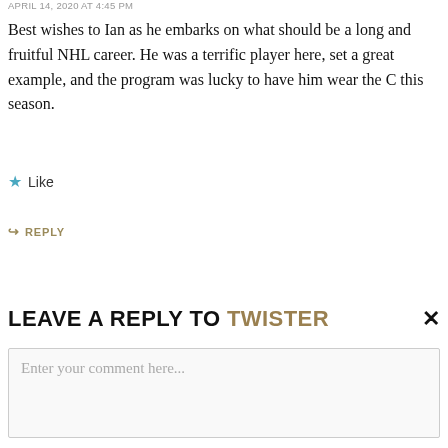APRIL 14, 2020 AT 4:45 PM
Best wishes to Ian as he embarks on what should be a long and fruitful NHL career. He was a terrific player here, set a great example, and the program was lucky to have him wear the C this season.
★ Like
↪ REPLY
LEAVE A REPLY TO TWISTER ×
Enter your comment here...